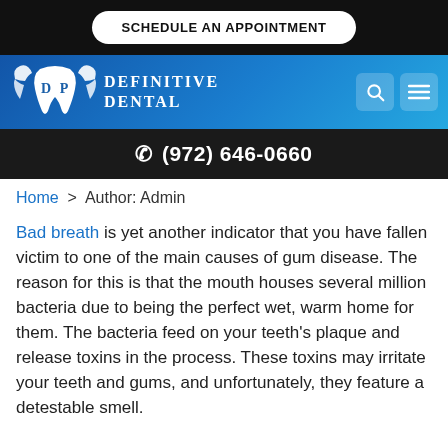SCHEDULE AN APPOINTMENT
[Figure (logo): Definitive Dental logo with winged tooth and brand name]
(972) 646-0660
Home > Author: Admin
Bad breath is yet another indicator that you have fallen victim to one of the main causes of gum disease. The reason for this is that the mouth houses several million bacteria due to being the perfect wet, warm home for them. The bacteria feed on your teeth’s plaque and release toxins in the process. These toxins may irritate your teeth and gums, and unfortunately, they feature a detestable smell.